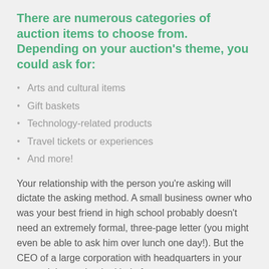There are numerous categories of auction items to choose from. Depending on your auction's theme, you could ask for:
Arts and cultural items
Gift baskets
Technology-related products
Travel tickets or experiences
And more!
Your relationship with the person you're asking will dictate the asking method. A small business owner who was your best friend in high school probably doesn't need an extremely formal, three-page letter (you might even be able to ask him over lunch one day!). But the CEO of a large corporation with headquarters in your town might require the kind of